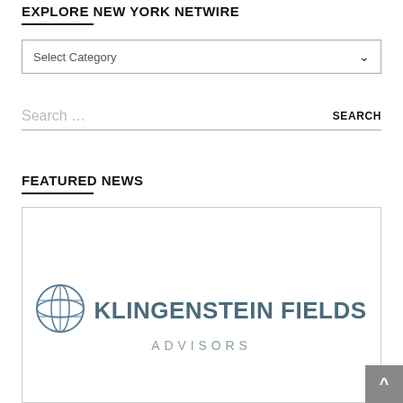EXPLORE NEW YORK NETWIRE
[Figure (screenshot): Dropdown select box labeled 'Select Category' with a down arrow]
[Figure (screenshot): Search bar with placeholder text 'Search ...' and a SEARCH button]
FEATURED NEWS
[Figure (logo): Klingenstein Fields Advisors logo featuring a globe icon and the company name]